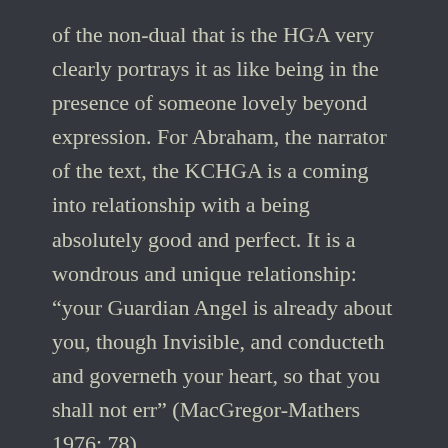of the non-dual that is the HGA very clearly portrays it as like being in the presence of someone lovely beyond expression. For Abraham, the narrator of the text, the KCHGA is a coming into relationship with a being absolutely good and perfect. It is a wondrous and unique relationship: “your Guardian Angel is already about you, though Invisible, and conducteth and governeth your heart, so that you shall not err” (MacGregor-Mathers 1976: 78).
To arrive at the KCHGA demands of the magician attainment of the understanding by which this relationship becomes possible. The ritual given in the text for this purpose